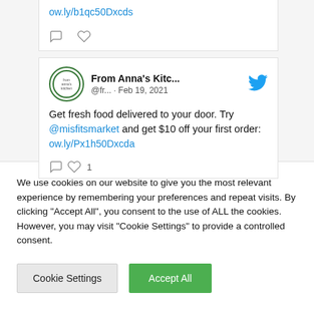ow.ly/b1qc50Dxcds
[Figure (screenshot): Tweet from From Anna's Kitc... (@fr...) · Feb 19, 2021 with Twitter bird icon. Tweet text: Get fresh food delivered to your door. Try @misfitsmarket and get $10 off your first order: ow.ly/Px1h50Dxcda. Shows comment and heart icons with 1 like.]
We use cookies on our website to give you the most relevant experience by remembering your preferences and repeat visits. By clicking "Accept All", you consent to the use of ALL the cookies. However, you may visit "Cookie Settings" to provide a controlled consent.